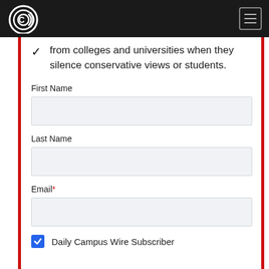Campus Wire navigation header with logo and menu button
from colleges and universities when they silence conservative views or students.
First Name
Last Name
Email*
Daily Campus Wire Subscriber